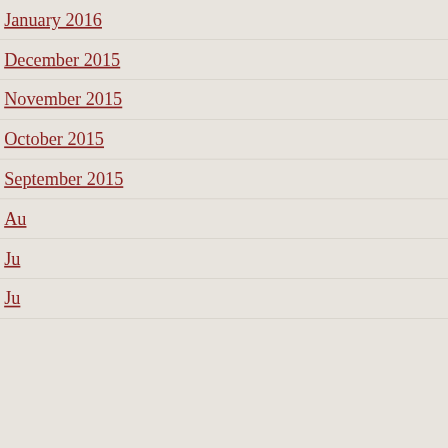January 2016
December 2015
November 2015
October 2015
September 2015
Au[gust 2015]
Ju[ly 2015]
Ju[ne 2015]
Privacy & Cookies: This site uses cookies. By continuing to use this website, you agree to their use.
To find out more, including how to control cookies, see here: Cookie Policy
Close and accept